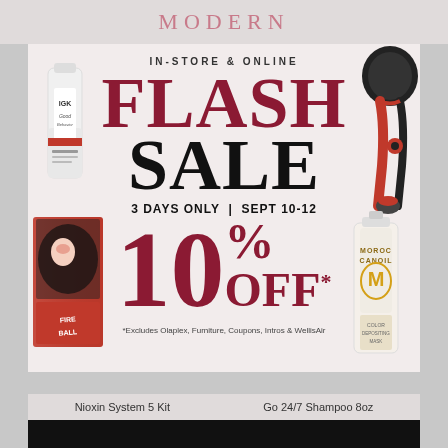MODERN
IN-STORE & ONLINE
FLASH SALE
3 DAYS ONLY | SEPT 10-12
10% OFF*
*Excludes Olaplex, Furniture, Coupons, Intros & WellisAir
[Figure (photo): IGK hair product tube, red and white]
[Figure (photo): Red and black automatic hair curling iron tool]
[Figure (photo): Fireball hair product package with woman's face]
[Figure (photo): Moroccanoil hair mask product bottle]
Nioxin System 5 Kit
Go 24/7 Shampoo 8oz